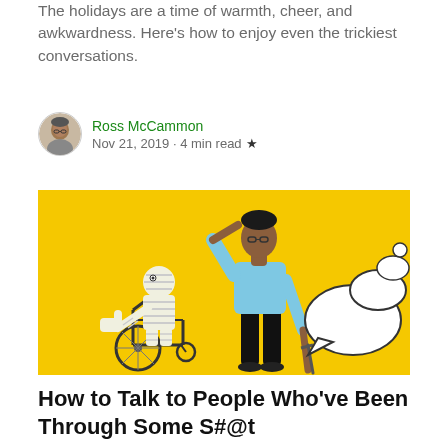The holidays are a time of warmth, cheer, and awkwardness. Here's how to enjoy even the trickiest conversations.
Ross McCammon
Nov 21, 2019 · 4 min read ★
[Figure (illustration): Illustration on a yellow background showing a person in a wheelchair covered in bandages giving a thumbs up, and a standing person in a blue shirt and black pants leaning on a cane scratching their head, with multiple white speech bubbles floating nearby.]
How to Talk to People Who've Been Through Some S#@t